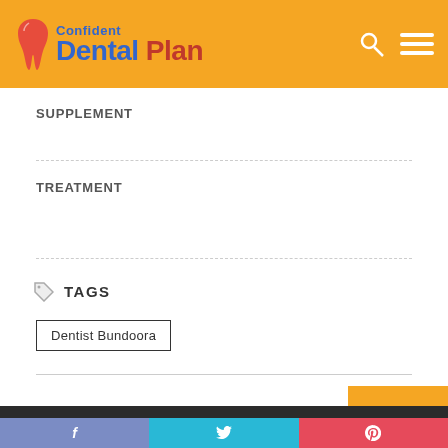Confident Dental Plan
SUPPLEMENT
TREATMENT
TAGS
Dentist Bundoora
Search …